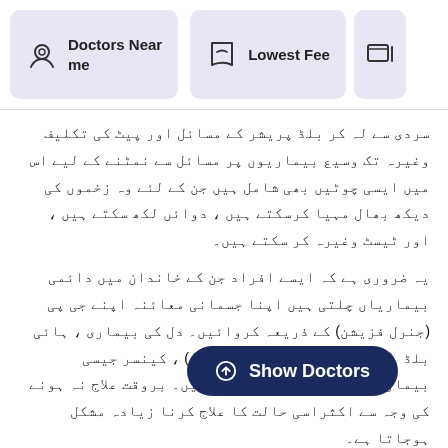Doctors Near me | Lowest Fee
سردی سے لے کر بلڈ پریشر کے مسائل اور پیٹ کی تکلیف وغیرہ تک وسیع بیماریوں پر مسائل سے نمٹنے کے لیے اس میں ایسی چوٹیں بھی شامل ہیں جن کے لئے وہ زخموں کی دیکھ بھال مہیا کرسکتے ہیں ، دوائں لکھ سکتے ہیں ، اور ٹیسٹ وغیرہ کر سکتے ہیں۔
یہ ضروری ہے کہ ایسے افراد جن کے خاندان میں دائمی بیماریاں چلتی ہیں اپنا جسمانی معائنہ اپنے جی پی (جنرل فزیشن) کے ذریعہ کروائیں۔ دل کی بیماری ، ہائی بلڈ پریشر ، افسردگی (ذہنی دباؤ) ، کینسر جیسی بیماریاں خاندانوں میں چلتی ہیں۔ بروقت علاج نہ ہونے کی وجہ سے اکثراسی حالت کا علاج کرنا زیادہ مشکل ہوجاتا ہے۔
لوگوں کو بھی اپنا فلو شاٹس لگوانے کے لئے بھی اپنا جنرل فزیشن سے ملنا چاہئے۔ کچھ لوگوں کو سردیوں یا موسم بہار میں بھی، جب بخار ہر جگہ بڑتا ہے تو اپنا فلو شاٹس لینے کی ضرورت